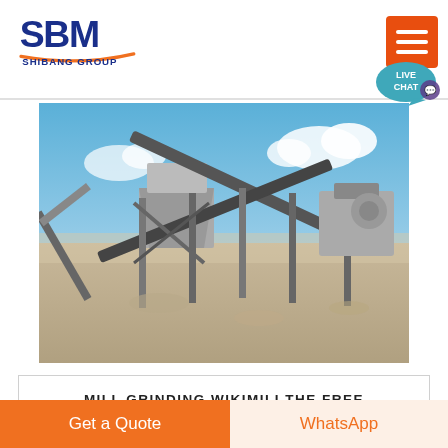SBM SHIBANG GROUP
[Figure (photo): Outdoor mining/grinding facility with conveyor belts, hoppers, and crushing equipment under a blue sky with clouds. Equipment is dusty and set on bare earth.]
MILL GRINDING WIKIMILI THE FREE ENCYCLOPEDIA
Get a Quote
WhatsApp